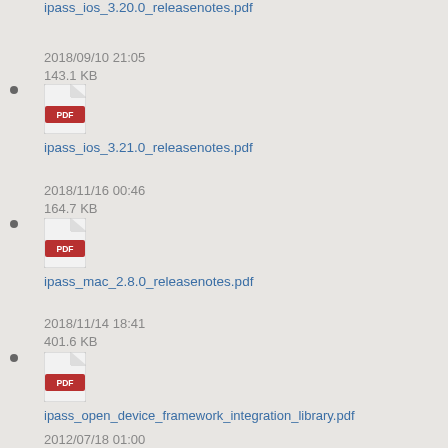ipass_ios_3.20.0_releasenotes.pdf
2018/09/10 21:05
143.1 KB
ipass_ios_3.21.0_releasenotes.pdf
2018/11/16 00:46
164.7 KB
ipass_mac_2.8.0_releasenotes.pdf
2018/11/14 18:41
401.6 KB
ipass_open_device_framework_integration_library.pdf
2012/07/18 01:00
405.9 KB